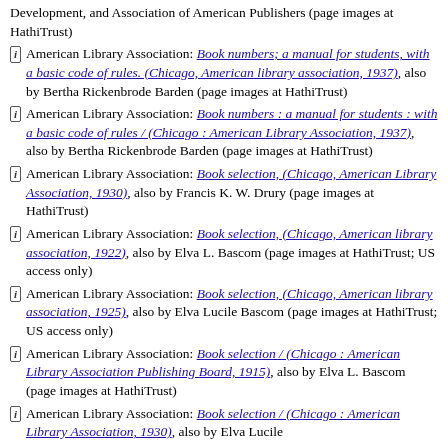Development, and Association of American Publishers (page images at HathiTrust)
[i] American Library Association: Book numbers; a manual for students, with a basic code of rules. (Chicago, American library association, 1937), also by Bertha Rickenbrode Barden (page images at HathiTrust)
[i] American Library Association: Book numbers : a manual for students : with a basic code of rules / (Chicago : American Library Association, 1937), also by Bertha Rickenbrode Barden (page images at HathiTrust)
[i] American Library Association: Book selection, (Chicago, American Library Association, 1930), also by Francis K. W. Drury (page images at HathiTrust)
[i] American Library Association: Book selection, (Chicago, American library association, 1922), also by Elva L. Bascom (page images at HathiTrust; US access only)
[i] American Library Association: Book selection, (Chicago, American library association, 1925), also by Elva Lucile Bascom (page images at HathiTrust; US access only)
[i] American Library Association: Book selection / (Chicago : American Library Association Publishing Board, 1915), also by Elva L. Bascom (page images at HathiTrust)
[i] American Library Association: Book selection / (Chicago : American Library Association, 1930), also by Elva Lucile